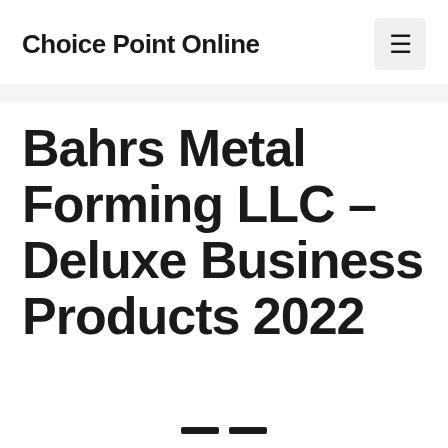Choice Point Online
Bahrs Metal Forming LLC – Deluxe Business Products 2022